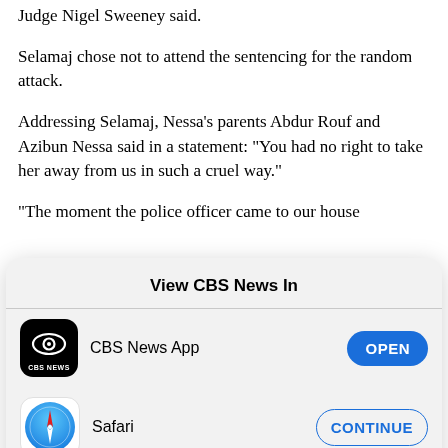Judge Nigel Sweeney said.
Selamaj chose not to attend the sentencing for the random attack.
Addressing Selamaj, Nessa's parents Abdur Rouf and Azibun Nessa said in a statement: "You had no right to take her away from us in such a cruel way."
"The moment the police officer came to our house
View CBS News In
[Figure (screenshot): CBS News App icon - black rounded square with CBS eye logo and 'CBS NEWS' text]
CBS News App
OPEN
[Figure (logo): Safari browser icon - blue circle with compass/arrow design]
Safari
CONTINUE